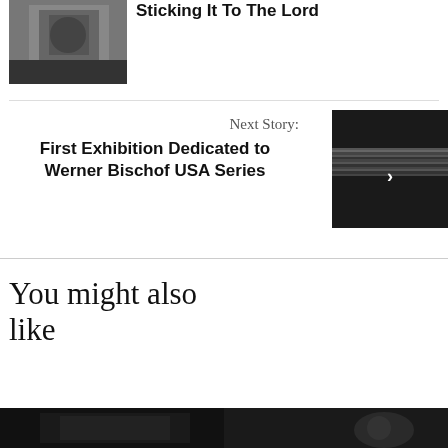[Figure (photo): Thumbnail photo of a tattooed person]
Sticking It To The Lord
Next Story:
First Exhibition Dedicated to Werner Bischof USA Series
[Figure (photo): Dark photo showing rows of items, possibly a concert or exhibition hall]
You might also like
[Figure (photo): Dark thumbnail image on the left bottom]
[Figure (photo): Dark thumbnail image on the right bottom]